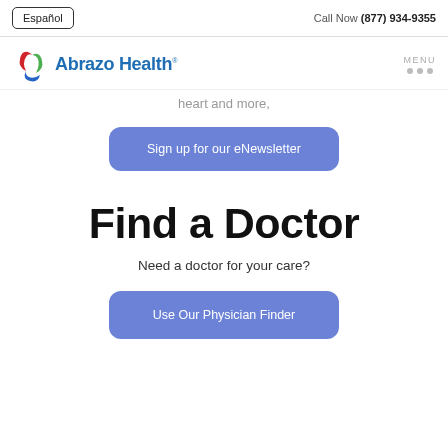Español | Call Now (877) 934-9355
[Figure (logo): Abrazo Health logo with stylized 'a' icon in red, green, and blue, followed by bold blue text 'Abrazo Health' with trademark symbol. MENU label with three gray dots on right.]
heart and more,
Sign up for our eNewsletter
Find a Doctor
Need a doctor for your care?
Use Our Physician Finder